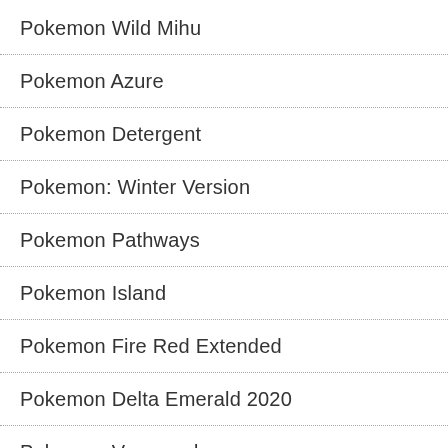Pokemon Wild Mihu
Pokemon Azure
Pokemon Detergent
Pokemon: Winter Version
Pokemon Pathways
Pokemon Island
Pokemon Fire Red Extended
Pokemon Delta Emerald 2020
Pokemon Vanguard
Pokemon Sunday
Pokemon Emerald Enhanced
Pokemon R.O.W.E. – an Open World Emerald Project